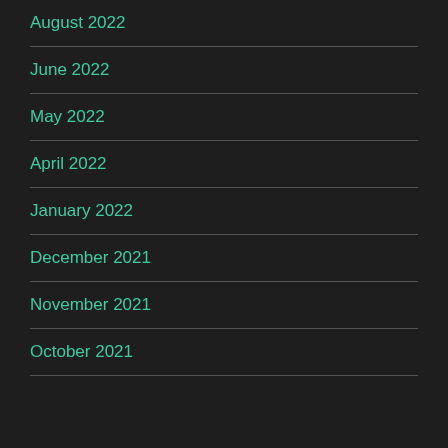August 2022
June 2022
May 2022
April 2022
January 2022
December 2021
November 2021
October 2021